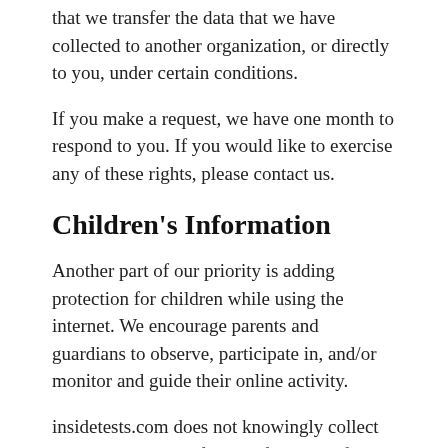that we transfer the data that we have collected to another organization, or directly to you, under certain conditions.
If you make a request, we have one month to respond to you. If you would like to exercise any of these rights, please contact us.
Children's Information
Another part of our priority is adding protection for children while using the internet. We encourage parents and guardians to observe, participate in, and/or monitor and guide their online activity.
insidetests.com does not knowingly collect any Personal Identifiable Information from children under the age of 13. If you think that your child provided this kind of information on our website, we strongly encourage you to contact us immediately and we will do our best efforts to promptly